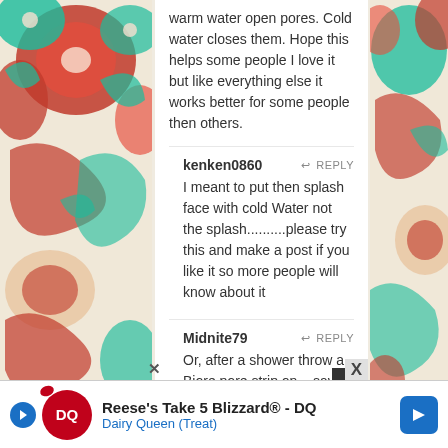warm water open pores. Cold water closes them. Hope this helps some people I love it but like everything else it works better for some people then others.
kenken0860 ↩ REPLY
I meant to put then splash face with cold Water not the splash..........please try this and make a post if you like it so more people will know about it
Midnite79 ↩ REPLY
Or, after a shower throw a Biore pore strip on....saves you about an hour (sounds like) and involves no cooking! lol
JessicaSutterlict ↩ REPLY
Does beer make ALL  your hair soft. (yes that hair!!)
dhang_t_chau ↩ REPLY
Reese's Take 5 Blizzard® - DQ
Dairy Queen (Treat)